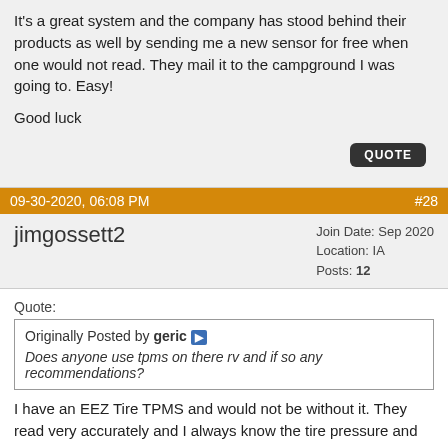It's a great system and the company has stood behind their products as well by sending me a new sensor for free when one would not read. They mail it to the campground I was going to. Easy!
Good luck
QUOTE
09-30-2020, 06:08 PM   #28
jimgossett2
Join Date: Sep 2020 Location: IA Posts: 12
Quote: Originally Posted by geric Does anyone use tpms on there rv and if so any recommendations?
I have an EEZ Tire TPMS and would not be without it. They read very accurately and I always know the tire pressure and temperature.
QUOTE